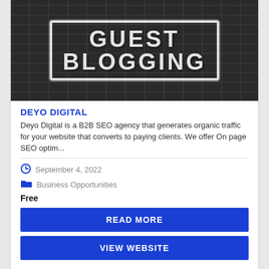[Figure (photo): Black and white image of graffiti on a brick wall reading 'GUEST BLOGGING' in a stamped/stencil style with a rectangular border]
DEYO DIGITAL
Deyo Digital is a B2B SEO agency that generates organic traffic for your website that converts to paying clients. We offer On page SEO optim...
September 4, 2022
Business Opportunities
Free
READ MORE
VIEW WEBSITE